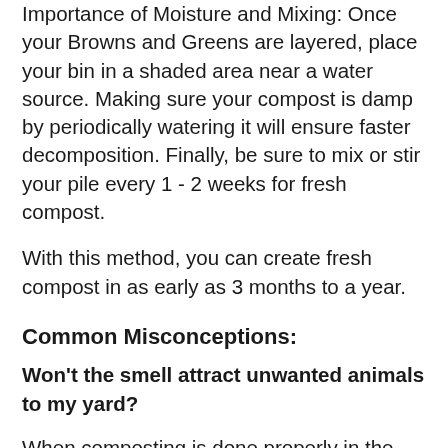Importance of Moisture and Mixing: Once your Browns and Greens are layered, place your bin in a shaded area near a water source. Making sure your compost is damp by periodically watering it will ensure faster decomposition. Finally, be sure to mix or stir your pile every 1 - 2 weeks for fresh compost.
With this method, you can create fresh compost in as early as 3 months to a year.
Common Misconceptions:
Won't the smell attract unwanted animals to my yard?
When composting is done properly in the correct ratios, there should be very minimal smell to your bin. Strong smelling bins that attract wildlife are a result of too much decomposing green material and not